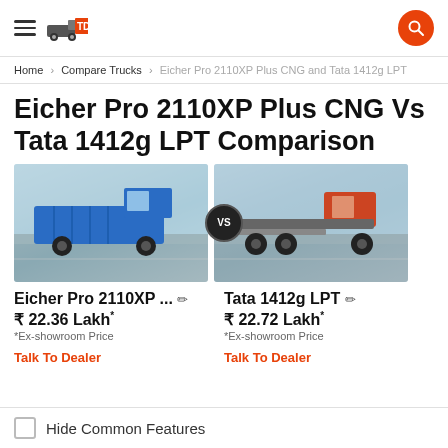TruckDekho logo and search
Home > Compare Trucks > Eicher Pro 2110XP Plus CNG and Tata 1412g LPT
Eicher Pro 2110XP Plus CNG Vs Tata 1412g LPT Comparison
[Figure (photo): Side-by-side comparison images of Eicher Pro 2110XP Plus CNG (blue truck, left) and Tata 1412g LPT (orange truck, right) with VS circle in center]
Eicher Pro 2110XP ... ✏  ₹ 22.36 Lakh* *Ex-showroom Price Talk To Dealer
Tata 1412g LPT ✏  ₹ 22.72 Lakh* *Ex-showroom Price Talk To Dealer
Hide Common Features